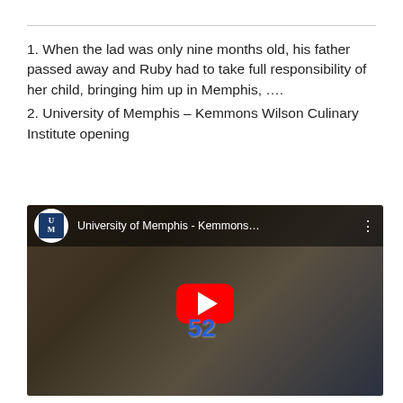1. When the lad was only nine months old, his father passed away and Ruby had to take full responsibility of her child, bringing him up in Memphis, ….
2. University of Memphis – Kemmons Wilson Culinary Institute opening
[Figure (screenshot): YouTube video embed showing University of Memphis - Kemmons... video with UM logo, play button, and a scene featuring a person in chef whites next to a tiger mascot wearing jersey number 52 in a kitchen/culinary setting.]